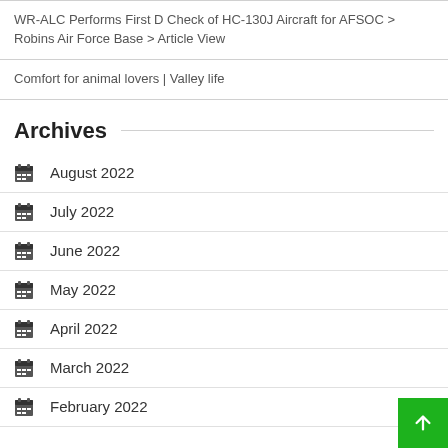WR-ALC Performs First D Check of HC-130J Aircraft for AFSOC > Robins Air Force Base > Article View
Comfort for animal lovers | Valley life
Archives
August 2022
July 2022
June 2022
May 2022
April 2022
March 2022
February 2022